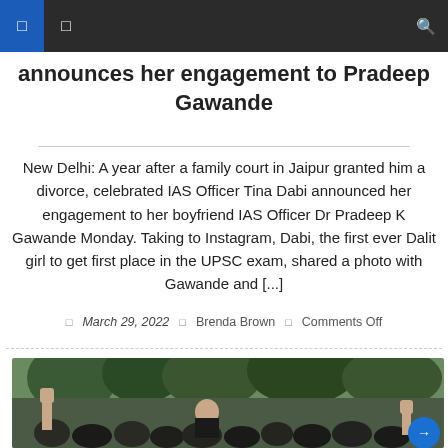Navigation bar with icons
announces her engagement to Pradeep Gawande
New Delhi: A year after a family court in Jaipur granted him a divorce, celebrated IAS Officer Tina Dabi announced her engagement to her boyfriend IAS Officer Dr Pradeep K Gawande Monday. Taking to Instagram, Dabi, the first ever Dalit girl to get first place in the UPSC exam, shared a photo with Gawande and [...]
March 29, 2022  Brenda Brown  Comments Off
[Figure (photo): A crowd photo showing a person raising a fist in the air, with trees in the background]